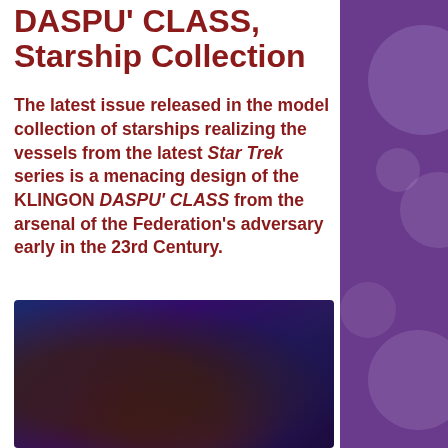DASPU' CLASS, Starship Collection
The latest issue released in the model collection of starships realizing the vessels from the latest Star Trek series is a menacing design of the KLINGON DASPU' CLASS from the arsenal of the Federation's adversary early in the 23rd Century.
[Figure (photo): A blurred photograph of a Klingon starship model against a dark blue/purple background]